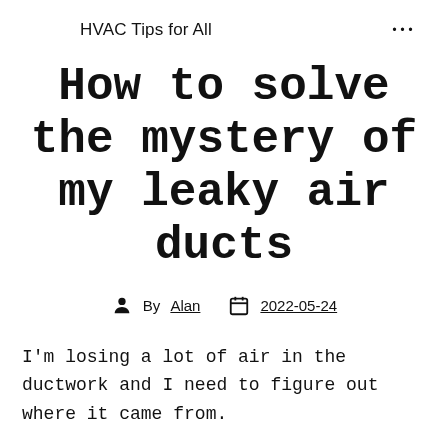HVAC Tips for All  •••
How to solve the mystery of my leaky air ducts
By Alan   2022-05-24
I'm losing a lot of air in the ductwork and I need to figure out where it came from.
Maybe some of the duct tape came off